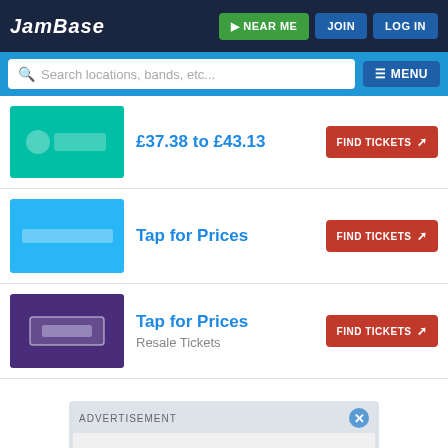JamBase | NEAR ME | JOIN | LOG IN
Search locations, bands, etc... MENU
£37.38 to £43.13 — FIND TICKETS
Tap for Prices — FIND TICKETS
Tap for Prices — Resale Tickets — FIND TICKETS
ADVERTISEMENT